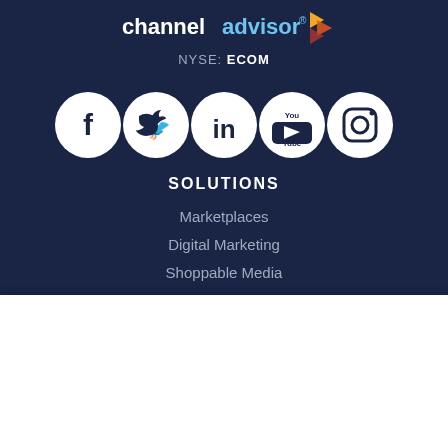[Figure (logo): ChannelAdvisor logo with colorful arrow icon on dark navy background]
NYSE: ECOM
[Figure (infographic): Five social media icons in white circles: Facebook, Twitter, LinkedIn, YouTube, Instagram]
SOLUTIONS
Marketplaces
Digital Marketing
Shoppable Media
By clicking “Accept All Cookies”, you agree to the storing of cookies on your device to enhance site navigation, analyze site usage, and assist in our marketing efforts.
Cookies Settings
Accept All Cookies